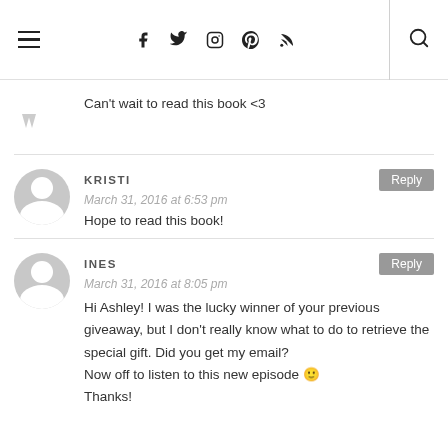Navigation header with hamburger menu, social icons (Facebook, Twitter, Instagram, Pinterest, RSS), and search icon
Can't wait to read this book <3
KRISTI
March 31, 2016 at 6:53 pm
Hope to read this book!
INES
March 31, 2016 at 8:05 pm
Hi Ashley! I was the lucky winner of your previous giveaway, but I don't really know what to do to retrieve the special gift. Did you get my email?
Now off to listen to this new episode 🙂
Thanks!